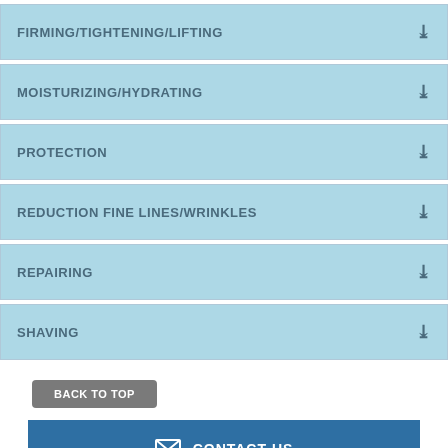FIRMING/TIGHTENING/LIFTING
MOISTURIZING/HYDRATING
PROTECTION
REDUCTION FINE LINES/WRINKLES
REPAIRING
SHAVING
BACK TO TOP
CONTACT US
[Figure (illustration): Social media icons: Facebook, Twitter, LinkedIn]